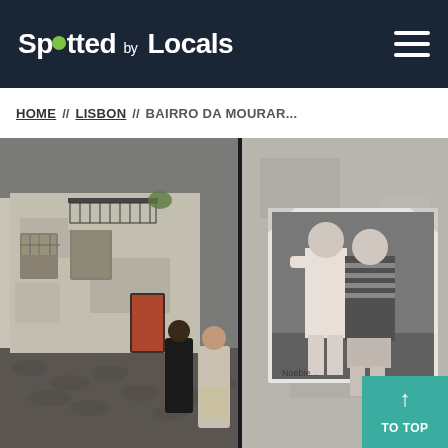Spotted by Locals
HOME // LISBON // BAIRRO DA MOURAR...
[Figure (photo): Two side-by-side street photographs from Lisbon's Bairro da Mouraria. Left: a narrow cobblestone alley with old weathered buildings, iron balconies, and people walking. Right: a close-up of a weathered white wall with a large black-and-white photo artwork pasted on it showing two men standing together, signed at the bottom.]
↑ TO TOP